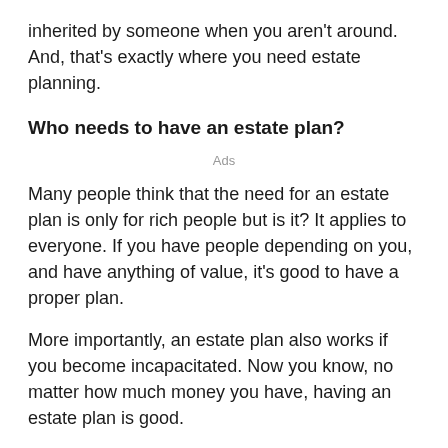inherited by someone when you aren't around. And, that's exactly where you need estate planning.
Who needs to have an estate plan?
Ads
Many people think that the need for an estate plan is only for rich people but is it? It applies to everyone. If you have people depending on you, and have anything of value, it's good to have a proper plan.
More importantly, an estate plan also works if you become incapacitated. Now you know, no matter how much money you have, having an estate plan is good.
What is meant by state planning?